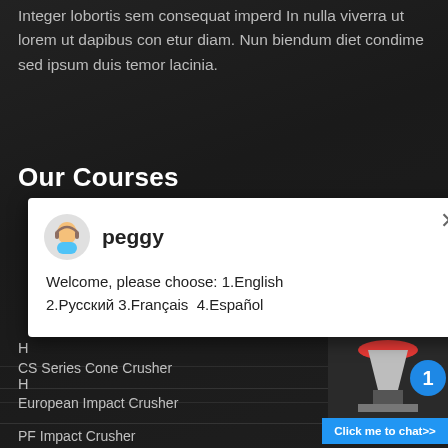Integer lobortis sem consequat imperd In nulla viverra ut lorem ut dapibus con etur diam. Nun biendum diet condime sed ipsum duis temor lacinia.
Our Courses
[Figure (screenshot): Chat popup with avatar of 'peggy', showing message: Welcome, please choose: 1.English 2.Русский 3.Français 4.Español, with a close X button in top right]
H
H
CS Series Cone Crusher
European Impact Crusher
PF Impact Crusher
PE Series Jaw Crusher